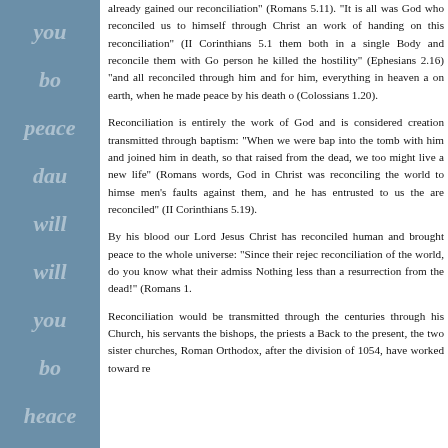[Figure (illustration): Blue sidebar with watermark-style words in light translucent text: you, bo, peace, dau, will, will, you, bo, heace]
already gained our reconciliation" (Romans 5.11). "It is all was God who reconciled us to himself through Christ and work of handing on this reconciliation" (II Corinthians 5.1 them both in a single Body and reconcile them with Go person he killed the hostility" (Ephesians 2.16) "and all reconciled through him and for him, everything in heaven a on earth, when he made peace by his death o (Colossians 1.20).
Reconciliation is entirely the work of God and is considered creation transmitted through baptism: "When we were bap into the tomb with him and joined him in death, so that raised from the dead, we too might live a new life" (Romans words, God in Christ was reconciling the world to himse men's faults against them, and he has entrusted to us the are reconciled" (II Corinthians 5.19).
By his blood our Lord Jesus Christ has reconciled human and brought peace to the whole universe: "Since their rejec reconciliation of the world, do you know what their admiss Nothing less than a resurrection from the dead!" (Romans 1.
Reconciliation would be transmitted through the centuries through his Church, his servants the bishops, the priests a Back to the present, the two sister churches, Roman Orthodox, after the division of 1054, have worked toward re